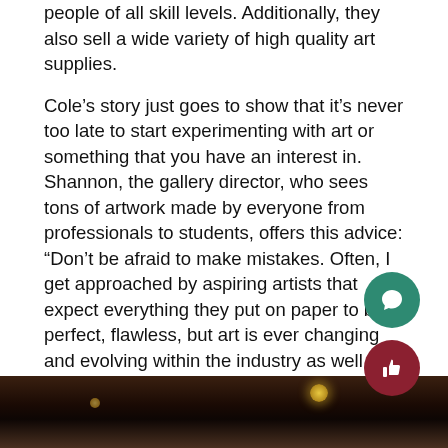people of all skill levels. Additionally, they also sell a wide variety of high quality art supplies.
Cole’s story just goes to show that it’s never too late to start experimenting with art or something that you have an interest in. Shannon, the gallery director, who sees tons of artwork made by everyone from professionals to students, offers this advice: “Don’t be afraid to make mistakes. Often, I get approached by aspiring artists that expect everything they put on paper to be perfect, flawless, but art is ever changing and evolving within the industry as well as the individual artists’ styles. I challenge every aspiring artist to seek out new techniques and embrace the critique of your work as this will mold you into a stronger artist.”
[Figure (photo): Bottom strip of a photograph showing a dark room interior, likely with pendant lights visible]